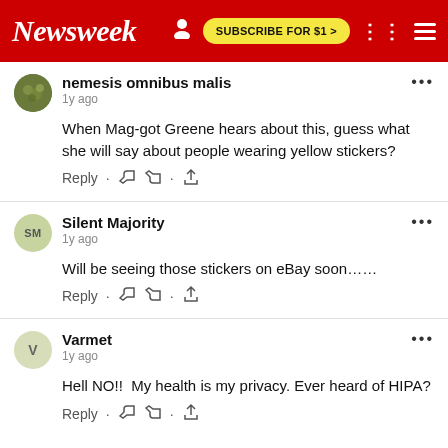Newsweek | SUBSCRIBE FOR $1 >
nemesis omnibus malis
1y ago
When Mag-got Greene hears about this, guess what she will say about people wearing yellow stickers?
Reply
Silent Majority
1y ago
Will be seeing those stickers on eBay soon......
Reply
Varmet
1y ago
Hell NO!!  My health is my privacy. Ever heard of HIPA?
Reply